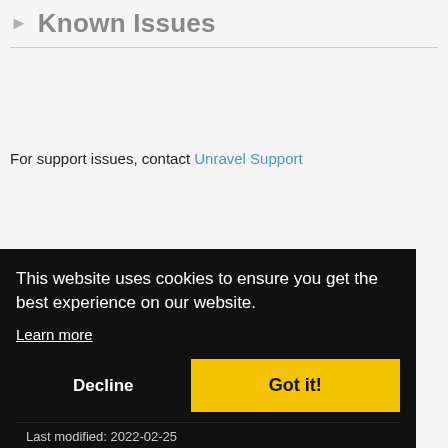Known Issues
For support issues, contact Unravel Support
This website uses cookies to ensure you get the best experience on our website.
Learn more
Decline
Got it!
Last modified: 2022-02-25